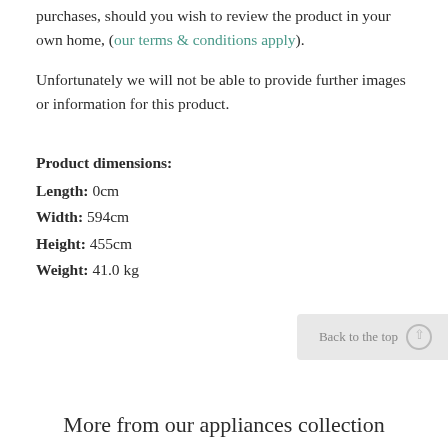purchases, should you wish to review the product in your own home, (our terms & conditions apply).
Unfortunately we will not be able to provide further images or information for this product.
Product dimensions:
Length: 0cm
Width: 594cm
Height: 455cm
Weight: 41.0 kg
Back to the top
More from our appliances collection